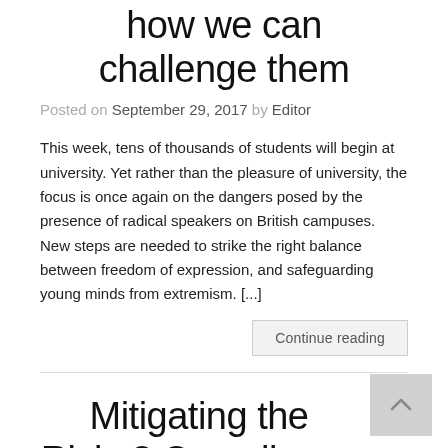how we can challenge them
Posted on September 29, 2017 by Editor
This week, tens of thousands of students will begin at university. Yet rather than the pleasure of university, the focus is once again on the dangers posed by the presence of radical speakers on British campuses. New steps are needed to strike the right balance between freedom of expression, and safeguarding young minds from extremism. [...]
Continue reading
Mitigating the Risks? Compliance